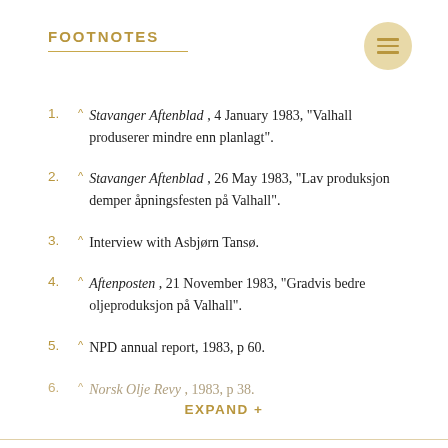FOOTNOTES
1. ^ Stavanger Aftenblad, 4 January 1983, "Valhall produserer mindre enn planlagt".
2. ^ Stavanger Aftenblad, 26 May 1983, "Lav produksjon demper åpningsfesten på Valhall".
3. ^ Interview with Asbjørn Tansø.
4. ^ Aftenposten, 21 November 1983, "Gradvis bedre oljeproduksjon på Valhall".
5. ^ NPD annual report, 1983, p 60.
6. ^ Norsk Olje Revy, 1983, p 38.
EXPAND +